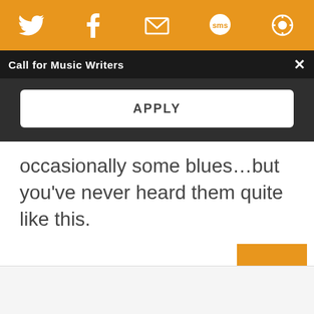[Figure (screenshot): Orange navigation/share bar with Twitter, Facebook, email, SMS, and share icons in white on orange background]
Call for Music Writers
APPLY
occasionally some blues...but you've never heard them quite like this.